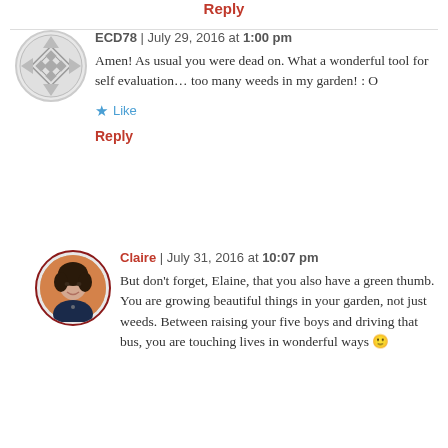Reply
ECD78 | July 29, 2016 at 1:00 pm
Amen! As usual you were dead on. What a wonderful tool for self evaluation… too many weeds in my garden! : O
Like
Reply
Claire | July 31, 2016 at 10:07 pm
But don't forget, Elaine, that you also have a green thumb. You are growing beautiful things in your garden, not just weeds. Between raising your five boys and driving that bus, you are touching lives in wonderful ways 🙂